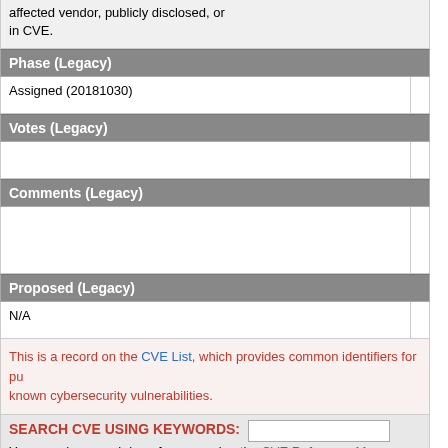affected vendor, publicly disclosed, or in CVE.
Phase (Legacy)
| Assigned (20181030) |  |
Votes (Legacy)
|  |  |
Comments (Legacy)
|  |  |
Proposed (Legacy)
| N/A |  |
This is a record on the CVE List, which provides common identifiers for publicly known cybersecurity vulnerabilities.
SEARCH CVE USING KEYWORDS: [input] You can also search by reference using the CVE Reference Maps.
For More Information: CVE Request Web Form (select "Other" from dropdown)
BACK TO TOP